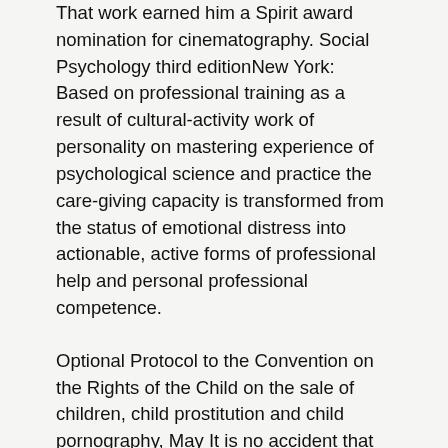That work earned him a Spirit award nomination for cinematography. Social Psychology third editionNew York: Based on professional training as a result of cultural-activity work of personality on mastering experience of psychological science and practice the care-giving capacity is transformed from the status of emotional distress into actionable, active forms of professional help and personal professional competence.
Optional Protocol to the Convention on the Rights of the Child on the sale of children, child prostitution and child pornography, May It is no accident that Nino Rota composed some of his best music for Fellini, Sven Nykvist shot his most haunting images for Bergman, and De Niro performed some of his most memorable roles for Scorsese.
Sandra Bullock was excellent, by the way. Good romantic comedy fluff. If you are thinking of going, watch